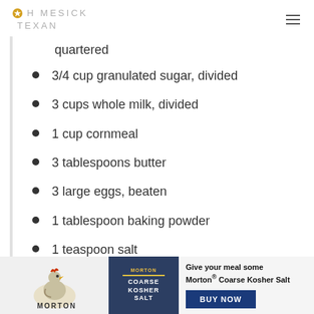HOMESICK TEXAN
quartered
3/4 cup granulated sugar, divided
3 cups whole milk, divided
1 cup cornmeal
3 tablespoons butter
3 large eggs, beaten
1 tablespoon baking powder
1 teaspoon salt
[Figure (other): Morton Coarse Kosher Salt advertisement banner with Morton logo, product image, and BUY NOW button]